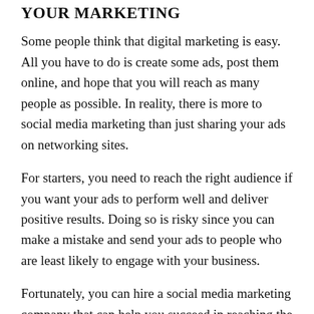YOUR MARKETING
Some people think that digital marketing is easy. All you have to do is create some ads, post them online, and hope that you will reach as many people as possible. In reality, there is more to social media marketing than just sharing your ads on networking sites.
For starters, you need to reach the right audience if you want your ads to perform well and deliver positive results. Doing so is risky since you can make a mistake and send your ads to people who are least likely to engage with your business.
Fortunately, you can hire a social media marketing company that can help you succeed in reaching the right audience. The digital marketing agency will